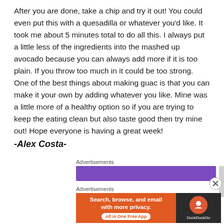After you are done, take a chip and try it out! You could even put this with a quesadilla or whatever you'd like. It took me about 5 minutes total to do all this. I always put a little less of the ingredients into the mashed up avocado because you can always add more if it is too plain. If you throw too much in it could be too strong. One of the best things about making guac is that you can make it your own by adding whatever you like. Mine was a little more of a healthy option so if you are trying to keep the eating clean but also taste good then try mine out! Hope everyone is having a great week!
-Alex Costa-
Advertisements
[Figure (other): Purple advertisement banner strip]
Advertisements
[Figure (other): DuckDuckGo advertisement banner: Search, browse, and email with more privacy. All in One Free App]